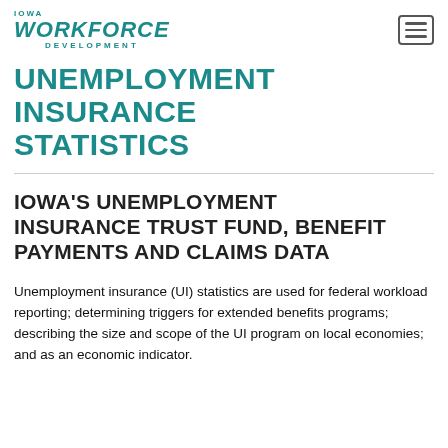IOWA WORKFORCE DEVELOPMENT
UNEMPLOYMENT INSURANCE STATISTICS
IOWA'S UNEMPLOYMENT INSURANCE TRUST FUND, BENEFIT PAYMENTS AND CLAIMS DATA
Unemployment insurance (UI) statistics are used for federal workload reporting; determining triggers for extended benefits programs; describing the size and scope of the UI program on local economies; and as an economic indicator. base reporting used for statistics